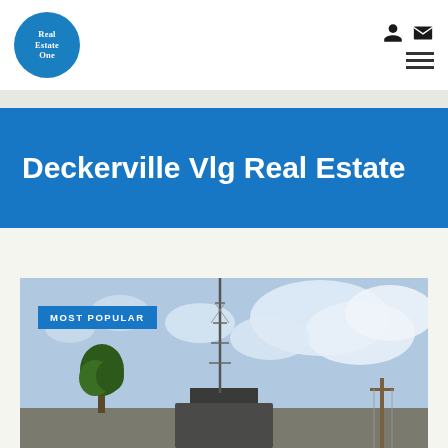[Figure (logo): Real Estate One circular blue logo with white serif text]
Deckerville Vlg Real Estate
[Figure (photo): Exterior photo of a property in Deckerville Vlg with a tall antenna/tower, trees, and a cloudy sky. Badge reads MOST POPULAR.]